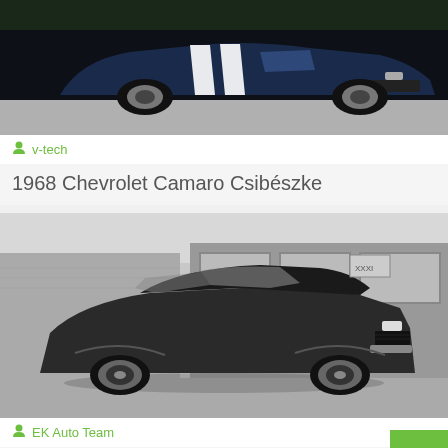[Figure (photo): Dark navy blue 1968 Chevrolet Camaro with white racing stripes, front 3/4 view on pavement]
v-tech
1968 Chevrolet Camaro Csibészke
[Figure (photo): Black and white photo of 1969 Chevrolet Camaro 383 SS parked in front of a brick building]
EK Auto Team
1969 Chevrolet Camaro 383 SS
[Figure (photo): Partial view of another car listing at bottom of page]